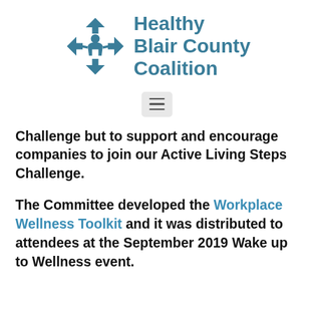[Figure (logo): Healthy Blair County Coalition logo — puzzle-piece figure icon in teal/steel blue on the left, with bold teal text 'Healthy Blair County Coalition' on the right]
[Figure (screenshot): Hamburger menu button (three horizontal lines) on a light gray rounded rectangle background]
Challenge but to support and encourage companies to join our Active Living Steps Challenge.
The Committee developed the Workplace Wellness Toolkit and it was distributed to attendees at the September 2019 Wake up to Wellness event.